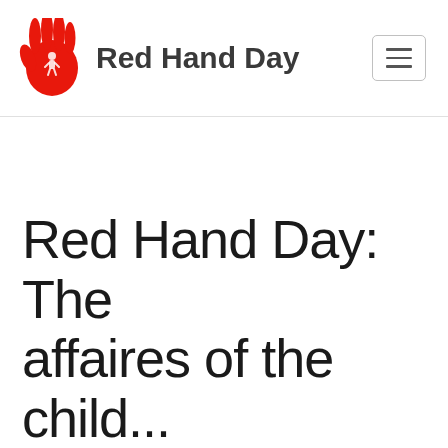Red Hand Day
Red Hand Day: The affaires of the child...